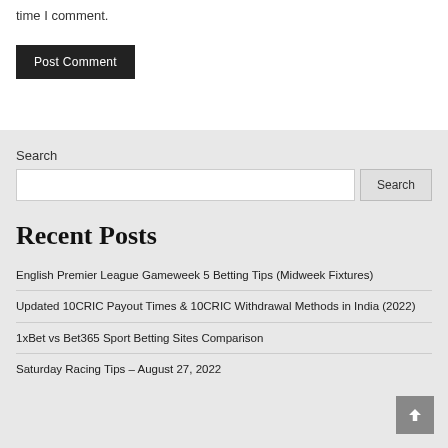time I comment.
Post Comment
Search
Recent Posts
English Premier League Gameweek 5 Betting Tips (Midweek Fixtures)
Updated 10CRIC Payout Times & 10CRIC Withdrawal Methods in India (2022)
1xBet vs Bet365 Sport Betting Sites Comparison
Saturday Racing Tips – August 27, 2022